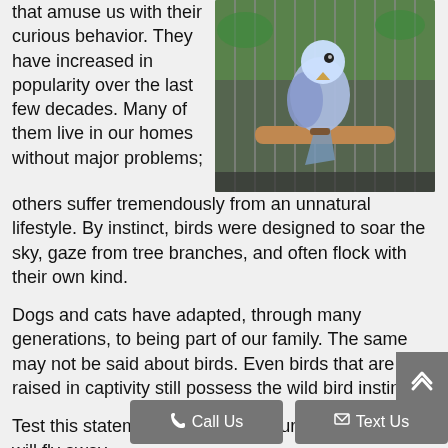that amuse us with their curious behavior. They have increased in popularity over the last few decades. Many of them live in our homes without major problems; others suffer tremendously from an unnatural lifestyle. By instinct, birds were designed to soar the sky, gaze from tree branches, and often flock with their own kind.
[Figure (photo): A blue-white budgerigar/parakeet perched on a wooden dowel inside a cage, with green plants visible in the background.]
Dogs and cats have adapted, through many generations, to being part of our family. The same may not be said about birds. Even birds that are raised in captivity still possess the wild bird instinct.
Test this statement by allowing yours to be free- it will fly away.